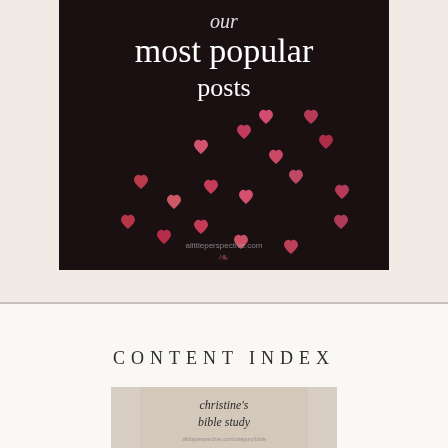[Figure (photo): Dark background with scattered pink and red bokeh heart shapes, with white text overlay reading 'our most popular posts' and watermark alittleperspective.com]
CONTENT INDEX
[Figure (photo): Beige/tan banner image with italic text reading "christine's bible study" and a URL watermark at the bottom]